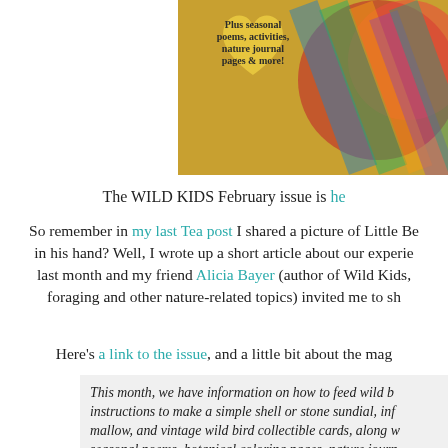[Figure (photo): Colorful knotted fabric balls and a yellow heart-shaped card with text 'Plus seasonal poems, activities, nature journal pages & more!' overlaid on top]
The WILD KIDS February issue is he[re]
So remember in my last Tea post I shared a picture of Little Be[ar] in his hand? Well, I wrote up a short article about our experie[nce] last month and my friend Alicia Bayer (author of Wild Kids, [a magazine covering] foraging and other nature-related topics) invited me to sh[are it].
Here's a link to the issue, and a little bit about the mag[azine]:
This month, we have information on how to feed wild b[irds,] instructions to make a simple shell or stone sundial, inf[o on] mallow, and vintage wild bird collectible cards, along w[ith] seasonal poems, botanical coloring pages, nature journ[al pages]. This issue is 22 pages and as always, it is ad-free and 1[00%] online or print out.